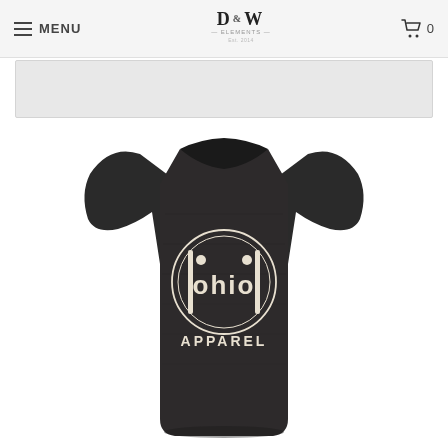MENU | D&W Elements | 0
[Figure (photo): A dark heathered charcoal black crew-neck t-shirt with a circular Ohio Apparel logo printed in white on the chest. The logo features the word 'ohio' in lowercase with stylized vertical bars forming the letter 'i' shapes, enclosed in a circle. Below the circular emblem reads 'APPAREL' in white block letters.]